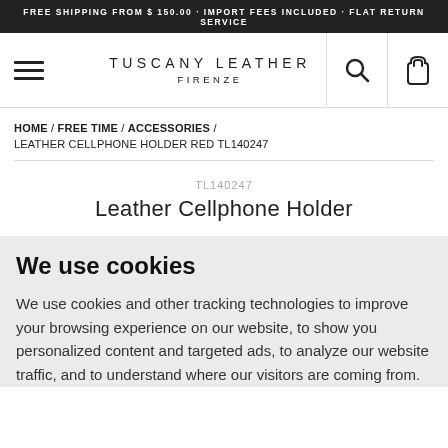FREE SHIPPING FROM $ 150.00 · IMPORT FEES INCLUDED · FLAT RETURN SERVICE
[Figure (logo): Tuscany Leather Firenze logo with hamburger menu, search and bag icons]
HOME / FREE TIME / ACCESSORIES / LEATHER CELLPHONE HOLDER RED TL140247
TL140247
Leather Cellphone Holder
We use cookies
We use cookies and other tracking technologies to improve your browsing experience on our website, to show you personalized content and targeted ads, to analyze our website traffic, and to understand where our visitors are coming from.